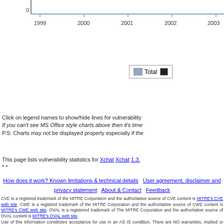[Figure (line-chart): Partial line chart showing vulnerability counts over years 1999-2003, with y-axis starting at 0. Chart is cropped at top and right. Legend shows 'Total' with blue and black series indicators.]
Click on legend names to show/hide lines for vulnerability If you can't see MS Office style charts above then it's time P.S: Charts may not be displayed properly especially if the
This page lists vulnerability statistics for Xchat Xchat 1.3.* *
How does it work? Known limitations & technical details | User agreement, disclaimer and privacy statement | About & Contact | Feedback
CVE is a registred trademark of the MITRE Corporation and the authoritative source of CVE content is MITRE's CVE web site. CWE is a registred trademark of the MITRE Corporation and the authoritative source of CWE content is MITRE's CWE web site. OVAL is a registered trademark of The MITRE Corporation and the authoritative source of OVAL content is MITRE's OVAL web site. Use of this information constitutes acceptance for use in an AS IS condition. There are NO warranties, implied or otherwise, with regard to this information or its use. Any use of this information is at the user's risk. It is the responsibility of user to evaluate the accuracy, completeness or usefulness of any information, opinion, advice or other content. EACH USER WILL BE SOLELY RESPONSIBLE FOR ANY consequences of his or her direct or indirect use of this web site. ALL WARRANTIES OF ANY KIND ARE EXPRESSLY DISCLAIMED. This site will NOT BE LIABLE FOR ANY DIRECT, INDIRECT or any other kind of loss.